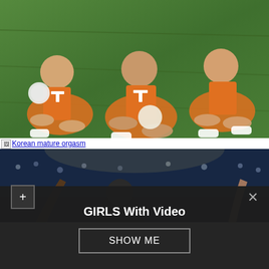[Figure (photo): Group of cheerleaders in orange Tennessee uniforms sitting on green grass field, holding white pom-poms, smiling at camera]
Korean mature orgasm
[Figure (photo): Basketball game photo, player with hands raised in arena with crowd in background, dark blue/purple tones]
GIRLS With Video
SHOW ME